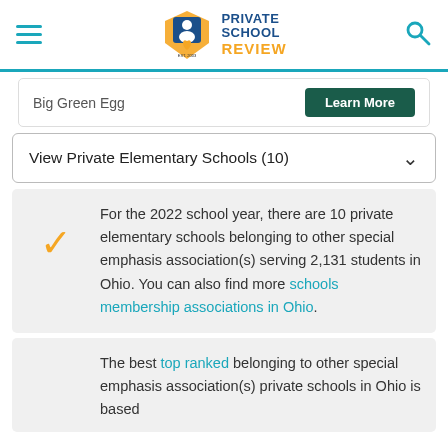Private School Review
Big Green Egg  Learn More
View Private Elementary Schools (10)
For the 2022 school year, there are 10 private elementary schools belonging to other special emphasis association(s) serving 2,131 students in Ohio. You can also find more schools membership associations in Ohio.
The best top ranked belonging to other special emphasis association(s) private schools in Ohio is based...